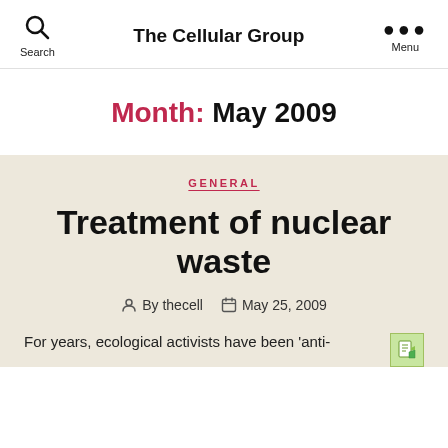The Cellular Group
Month: May 2009
GENERAL
Treatment of nuclear waste
By thecell   May 25, 2009
For years, ecological activists have been 'anti-